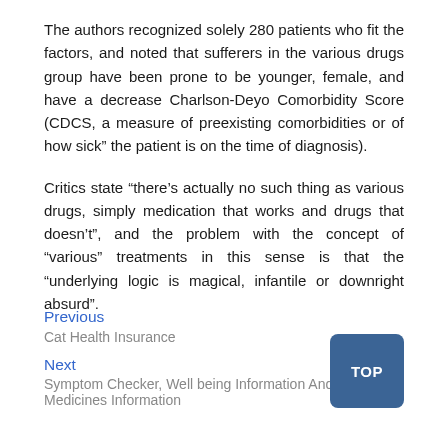The authors recognized solely 280 patients who fit the factors, and noted that sufferers in the various drugs group have been prone to be younger, female, and have a decrease Charlson-Deyo Comorbidity Score (CDCS, a measure of preexisting comorbidities or of how sick” the patient is on the time of diagnosis).
Critics state “there’s actually no such thing as various drugs, simply medication that works and drugs that doesn’t”, and the problem with the concept of “various” treatments in this sense is that the “underlying logic is magical, infantile or downright absurd”.
Previous
Cat Health Insurance
Next
Symptom Checker, Well being Information And Medicines Information